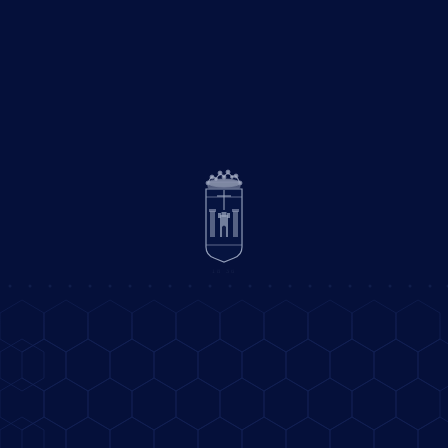[Figure (logo): A heraldic coat of arms / institutional logo with a crown on top and a shield-like shape below, rendered in silver/white on dark navy background. The shield contains architectural/building imagery. Below the shield is the year '18 36' or similar date text.]
[Figure (illustration): Bottom decorative pattern consisting of overlapping hexagonal/diamond geometric shapes rendered in subtle navy-on-navy lines, creating a repeating pattern across the bottom third of the page. Above the shapes is a row of dots.]